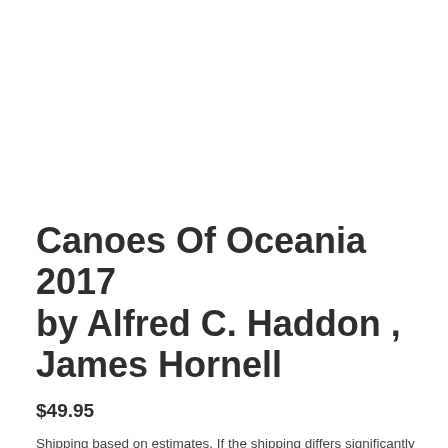Canoes Of Oceania 2017 by Alfred C. Haddon , James Hornell
$49.95
Shipping based on estimates. If the shipping differs significantly in either direction, your order will be adjusted accordingly.